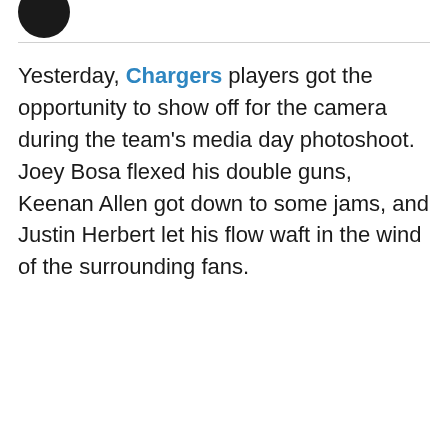[Figure (photo): Partial avatar/profile picture circle, dark colored, cropped at top of page]
Yesterday, Chargers players got the opportunity to show off for the camera during the team's media day photoshoot. Joey Bosa flexed his double guns, Keenan Allen got down to some jams, and Justin Herbert let his flow waft in the wind of the surrounding fans.